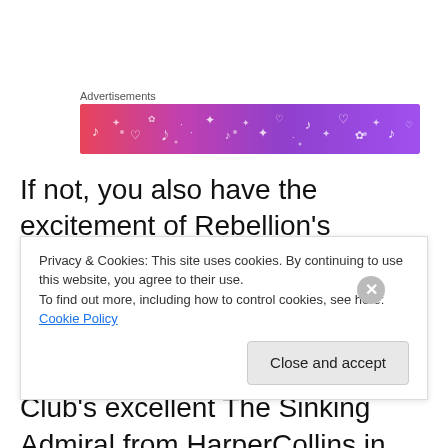Advertisements
[Figure (illustration): Colorful gradient banner advertisement with musical and decorative icons (notes, hearts, flowers) on a pink-to-purple gradient background]
If not, you also have the excitement of Rebellion's Message, my first Jack Blackjack book with Severn House, which is published in April, my parts in the Detection Club's excellent The Sinking Admiral from HarperCollins in May, and the third of my Vintener Series, Blood of the Innocents, in August from Simon and
Privacy & Cookies: This site uses cookies. By continuing to use this website, you agree to their use.
To find out more, including how to control cookies, see here: Cookie Policy
Close and accept